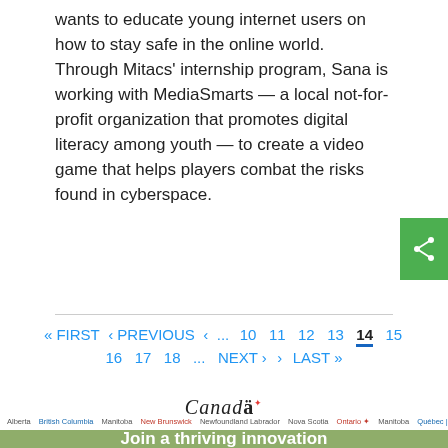wants to educate young internet users on how to stay safe in the online world. Through Mitacs' internship program, Sana is working with MediaSmarts — a local not-for-profit organization that promotes digital literacy among youth — to create a video game that helps players combat the risks found in cyberspace.
[Figure (other): Pagination navigation: « FIRST ‹ PREVIOUS < ... 10 11 12 13 [14] 15 / 16 17 18 ... NEXT › > LAST »]
[Figure (logo): Canada wordmark logo with red maple leaf superscript]
[Figure (logo): Row of provincial and territorial logos: Alberta, British Columbia, Manitoba, New Brunswick, Newfoundland Labrador, Nova Scotia, Ontario, Manitoba, Quebec, Saskatchewan, Yukon]
Join a thriving innovation